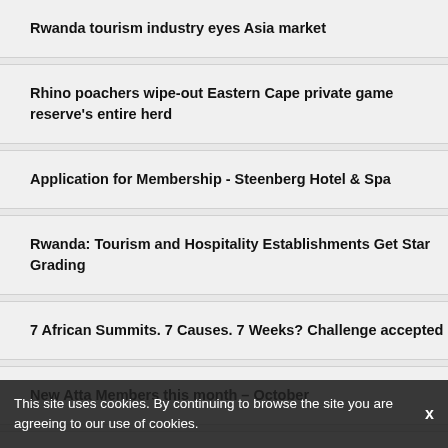Rwanda tourism industry eyes Asia market
Rhino poachers wipe-out Eastern Cape private game reserve's entire herd
Application for Membership - Steenberg Hotel & Spa
Rwanda: Tourism and Hospitality Establishments Get Star Grading
7 African Summits. 7 Causes. 7 Weeks? Challenge accepted
New Atta Members this month – October
Technology crucial in changing, advancing the tourism industry
This site uses cookies. By continuing to browse the site you are agreeing to our use of cookies.